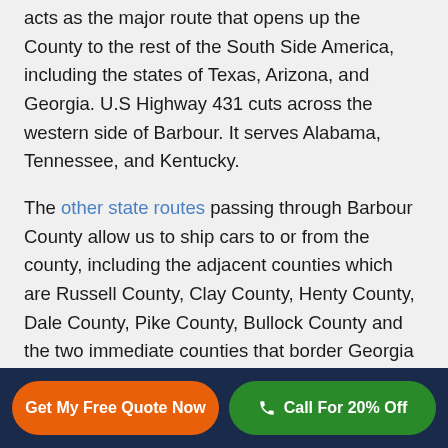acts as the major route that opens up the County to the rest of the South Side America, including the states of Texas, Arizona, and Georgia. U.S Highway 431 cuts across the western side of Barbour. It serves Alabama, Tennessee, and Kentucky.

The other state routes passing through Barbour County allow us to ship cars to or from the county, including the adjacent counties which are Russell County, Clay County, Henty County, Dale County, Pike County, Bullock County and the two immediate counties that border Georgia State to
Get My Free Quote Now | Call For 20% Off